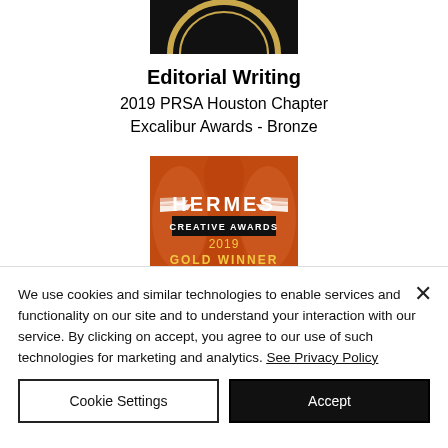[Figure (photo): Top portion of a dark/black circular award medallion (PRSA Houston Chapter Excalibur Awards) on black background, cropped at top]
Editorial Writing
2019 PRSA Houston Chapter Excalibur Awards - Bronze
[Figure (photo): Hermes Creative Awards 2019 Gold Winner badge on orange/red decorative background]
We use cookies and similar technologies to enable services and functionality on our site and to understand your interaction with our service. By clicking on accept, you agree to our use of such technologies for marketing and analytics. See Privacy Policy